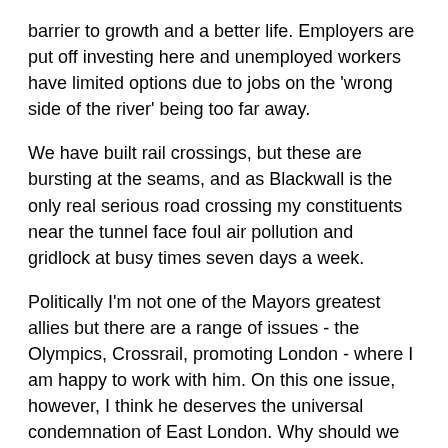barrier to growth and a better life. Employers are put off investing here and unemployed workers have limited options due to jobs on the 'wrong side of the river' being too far away.
We have built rail crossings, but these are bursting at the seams, and as Blackwall is the only real serious road crossing my constituents near the tunnel face foul air pollution and gridlock at busy times seven days a week.
Politically I'm not one of the Mayors greatest allies but there are a range of issues - the Olympics, Crossrail, promoting London - where I am happy to work with him. On this one issue, however, I think he deserves the universal condemnation of East London. Why should we continue to be forced to wait another decade for something that the well heeled West of London takes for granted? It is a form of political victimisation. Now that the Mayor has after all protected the road from a...